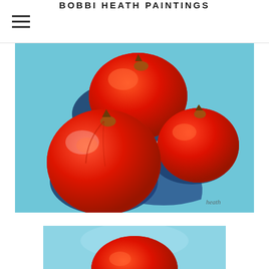BOBBI HEATH PAINTINGS
[Figure (illustration): Oil painting of three red tomatoes on a light blue background with dark blue shadows cast between them. Artist signature 'heath' visible in lower right corner.]
[Figure (illustration): Partial view of another oil painting showing a red tomato on a light blue background, cropped at the bottom of the page.]